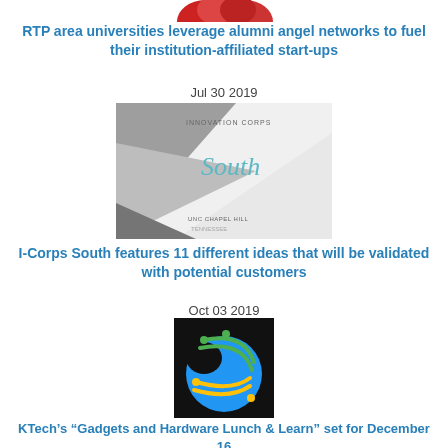[Figure (photo): Partial logo/image at top of page (cropped red/pink graphic)]
RTP area universities leverage alumni angel networks to fuel their institution-affiliated start-ups
Jul 30 2019
[Figure (photo): I-Corps South logo: geometric gray/white pennant shapes with cursive 'South' text]
I-Corps South features 11 different ideas that will be validated with potential customers
Oct 03 2019
[Figure (logo): KTech logo: blue circular shape with green and yellow curved lines/connectors on black background]
KTech's “Gadgets and Hardware Lunch & Learn” set for December 16
Dec 01 2020